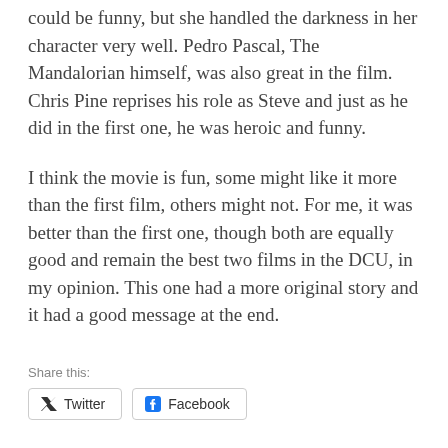could be funny, but she handled the darkness in her character very well. Pedro Pascal, The Mandalorian himself, was also great in the film. Chris Pine reprises his role as Steve and just as he did in the first one, he was heroic and funny.
I think the movie is fun, some might like it more than the first film, others might not. For me, it was better than the first one, though both are equally good and remain the best two films in the DCU, in my opinion. This one had a more original story and it had a good message at the end.
Share this:
Twitter   Facebook